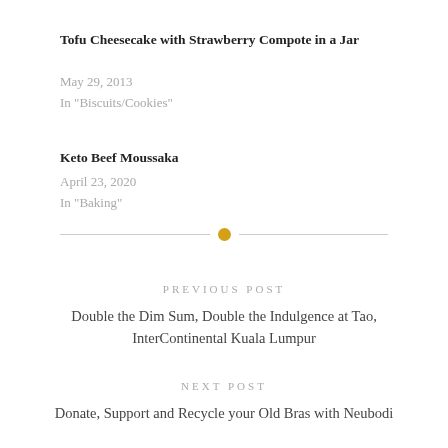Tofu Cheesecake with Strawberry Compote in a Jar
May 29, 2013
In "Biscuits/Cookies"
Keto Beef Moussaka
April 23, 2020
In "Baking"
PREVIOUS POST
Double the Dim Sum, Double the Indulgence at Tao, InterContinental Kuala Lumpur
NEXT POST
Donate, Support and Recycle your Old Bras with Neubodi